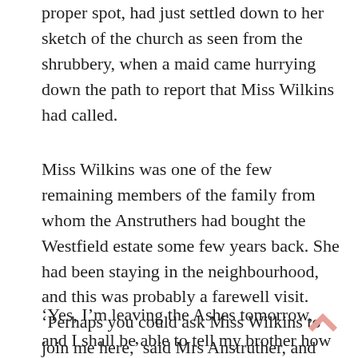proper spot, had just settled down to her sketch of the church as seen from the shrubbery, when a maid came hurrying down the path to report that Miss Wilkins had called.
Miss Wilkins was one of the few remaining members of the family from whom the Anstruthers had bought the Westfield estate some few years back. She had been staying in the neighbourhood, and this was probably a farewell visit. ‘Perhaps you could ask Miss Wilkins to join me here,’ said Mrs Anstruther, and soon Miss Wilkins, a person of mature years, approached.
‘Yes, I’m leaving the Ashes tomorrow, and I shall be able to tell my brother how tremendously you have improved the place. Of course he can’t help regretting the old house just a little — as I do myself — but the garden is really delightful now’